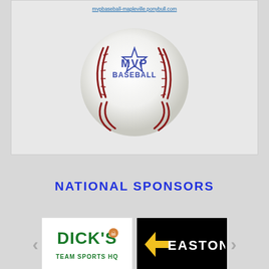[Figure (photo): White MVP Baseball branded baseball with red stitching and a blue star logo reading 'MVP BASEBALL', displayed on a light gray background within a bordered panel]
mvpbaseball-mapleville.ponybull.com
NATIONAL SPONSORS
[Figure (logo): Dick's Team Sports HQ logo - green text on white background with skull icon]
[Figure (logo): Easton logo - yellow arrow/chevron and white EASTON text on black background]